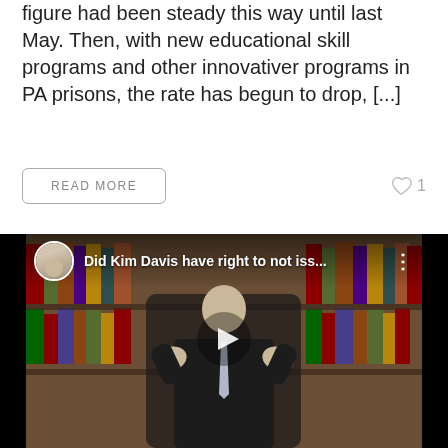figure had been steady this way until last May. Then, with new educational skill programs and other innovativer programs in PA prisons, the rate has begun to drop, [...]
READ MORE
1
[Figure (screenshot): Video thumbnail showing an elderly man in a dark suit with hands raised, standing in front of a bookshelf background. Video title overlay reads 'Did Kim Davis have right to not iss...' with a circular avatar of a man in the top-left corner and a three-dot menu icon on the right. A play button triangle is centered on the video.]